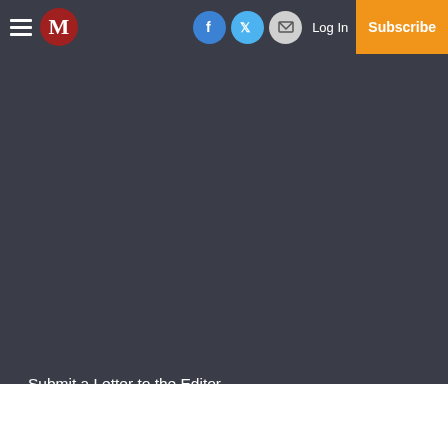M | Log In | Subscribe
Lifestyles
Obituaries
Business
Small Business
Services
About Us
Subscriptions
Policies
Submit a News Tip
Submit a Photo
Submit a Letter to the Editor
Birth Announcement
Birthday Announcement
Engagement Announcement